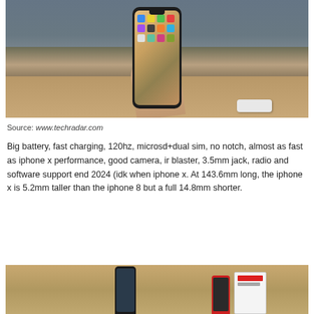[Figure (photo): Hand holding an iPhone X displaying home screen with app icons, people visible in blurred background]
Source: www.techradar.com
Big battery, fast charging, 120hz, microsd+dual sim, no notch, almost as fast as iphone x performance, good camera, ir blaster, 3.5mm jack, radio and software support end 2024 (idk when iphone x. At 143.6mm long, the iphone x is 5.2mm taller than the iphone 8 but a full 14.8mm shorter.
[Figure (photo): Two iPhones displayed next to a white iPhone box on a wooden surface]